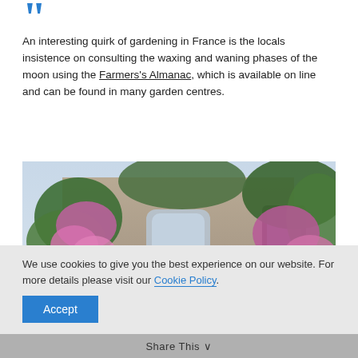[Figure (other): Large blue decorative opening quotation mark in bold.]
An interesting quirk of gardening in France is the locals insistence on consulting the waxing and waning phases of the moon using the Farmers's Almanac, which is available on line and can be found in many garden centres.
[Figure (photo): A French stone cottage covered in climbing pink roses and lush green foliage, with flower boxes and potted plants along the front.]
We use cookies to give you the best experience on our website. For more details please visit our Cookie Policy.
Accept
Share This